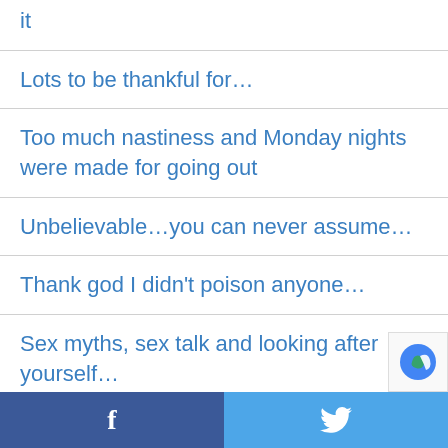it
Lots to be thankful for…
Too much nastiness and Monday nights were made for going out
Unbelievable…you can never assume…
Thank god I didn't poison anyone…
Sex myths, sex talk and looking after yourself…
Let little girls BE little girls!
It's grey out so grab a friend and go…
f  🐦